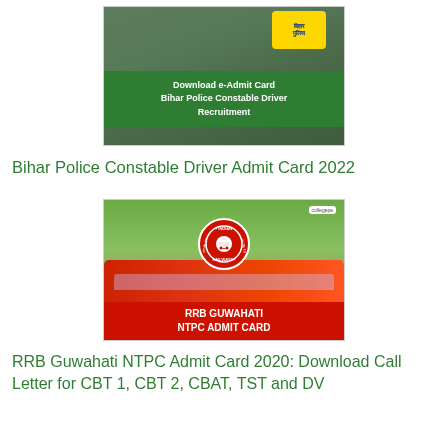[Figure (photo): Bihar Police Constable Driver Admit Card banner image with green background, Bihar Police logo in yellow/blue, and a green bar with white bold text reading 'Download e-Admit Card Bihar Police Constable Driver Recruitment']
Bihar Police Constable Driver Admit Card 2022
[Figure (photo): RRB Guwahati NTPC Admit Card banner image showing a red Indian Railways train, Indian Railways circular logo, trees in background, and a red bar with white bold text reading 'RRB GUWAHATI NTPC ADMIT CARD']
RRB Guwahati NTPC Admit Card 2020: Download Call Letter for CBT 1, CBT 2, CBAT, TST and DV